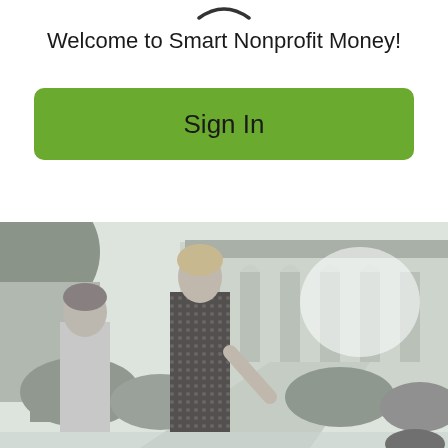[Figure (logo): Partial logo arc visible at top of page]
Welcome to Smart Nonprofit Money!
[Figure (other): Green Sign In button]
[Figure (photo): Grayscale photo of two women standing outdoors in a garden/courtyard setting with arched colonnade and trees in background]